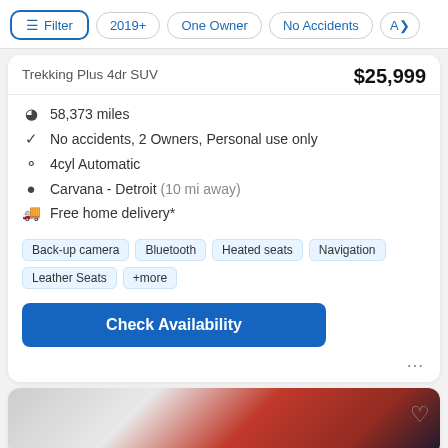Filter  2019+  One Owner  No Accidents  A>
$25,999 (partially visible price)
Trekking Plus 4dr SUV
58,373 miles
No accidents, 2 Owners, Personal use only
4cyl Automatic
Carvana - Detroit (10 mi away)
Free home delivery*
Back-up camera  Bluetooth  Heated seats  Navigation  Leather Seats  +more
Check Availability
[Figure (photo): Partial view of a red car in the bottom card]